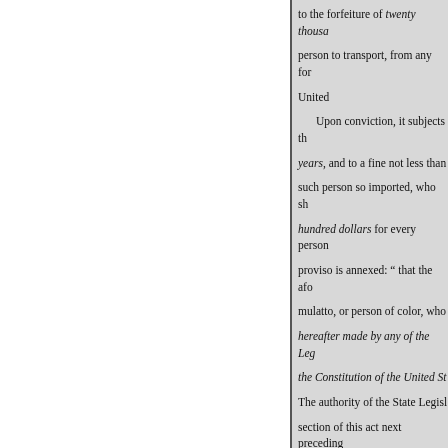to the forfeiture of twenty thousand dollars; person to transport, from any foreign country to the United States. Upon conviction, it subjects the offender to imprisonment for not less than five years, and to a fine not less than one thousand dollars, and for every such person so imported, who shall remain, a fine of one hundred dollars for every person so imported; and, to this section, a proviso is annexed: " that the aforesaid act shall not apply to any mulatto, or person of color, who may be brought into this State under any law hereafter made by any of the Legislatures thereof, not contruvening the Constitution of the United States."

The authority of the State Legislature referred to in the section of this act next preceding is that which belongs to persons claiming from or under him, shall not extend to any negro or person of color, nor to the service or labor of any person held to service in the territories thereof, in violation of the act of Congress, nor to laws contruvening the provisions of the act of Congress, which, at any time hereafter, may make, for discharging such obligation.

A recent act of the Legislature.

The second section of the act embraces negroes, mulattoes, or persons of color, brought